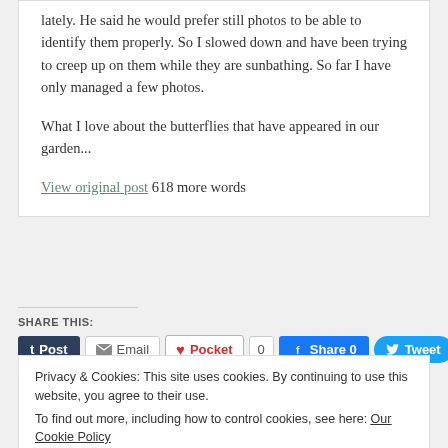lately. He said he would prefer still photos to be able to identify them properly. So I slowed down and have been trying to creep up on them while they are sunbathing. So far I have only managed a few photos.
What I love about the butterflies that have appeared in our garden...
View original post 618 more words
SHARE THIS:
Privacy & Cookies: This site uses cookies. By continuing to use this website, you agree to their use. To find out more, including how to control cookies, see here: Our Cookie Policy
Close and accept